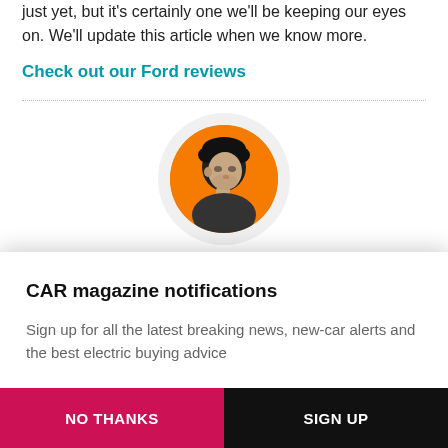just yet, but it's certainly one we'll be keeping our eyes on. We'll update this article when we know more.
Check out our Ford reviews
[Figure (photo): Circular author avatar photo showing a man with curly hair in black and white against an orange background, surrounded by a light grey circular border]
By Curtis Moldrich
CAR magazine notifications
Sign up for all the latest breaking news, new-car alerts and the best electric buying advice